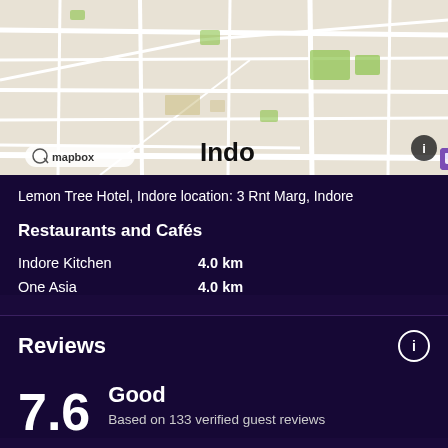[Figure (map): Mapbox map showing Indore area with hotel location marker and info button]
Lemon Tree Hotel, Indore location: 3 Rnt Marg, Indore
Restaurants and Cafés
Indore Kitchen    4.0 km
One Asia    4.0 km
Reviews
7.6
Good
Based on 133 verified guest reviews